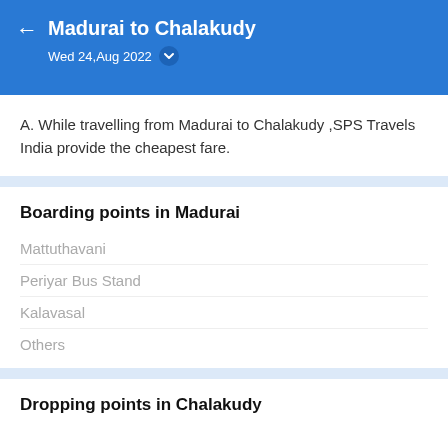Madurai to Chalakudy
Wed 24,Aug 2022
A. While travelling from Madurai to Chalakudy ,SPS Travels India provide the cheapest fare.
Boarding points in Madurai
Mattuthavani
Periyar Bus Stand
Kalavasal
Others
Dropping points in Chalakudy